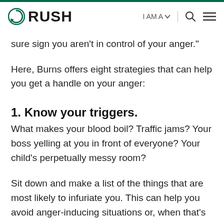RUSH | I AM A | [search] [menu]
sure sign you aren't in control of your anger."
Here, Burns offers eight strategies that can help you get a handle on your anger:
1. Know your triggers.
What makes your blood boil? Traffic jams? Your boss yelling at you in front of everyone? Your child's perpetually messy room?
Sit down and make a list of the things that are most likely to infuriate you. This can help you avoid anger-inducing situations or, when that's